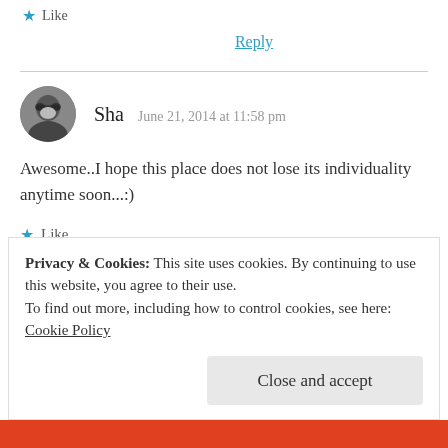★ Like
Reply
Sha  June 21, 2014 at 11:58 pm
Awesome..I hope this place does not lose its individuality anytime soon...:)
★ Like
Reply
Privacy & Cookies: This site uses cookies. By continuing to use this website, you agree to their use.
To find out more, including how to control cookies, see here:
Cookie Policy
Close and accept